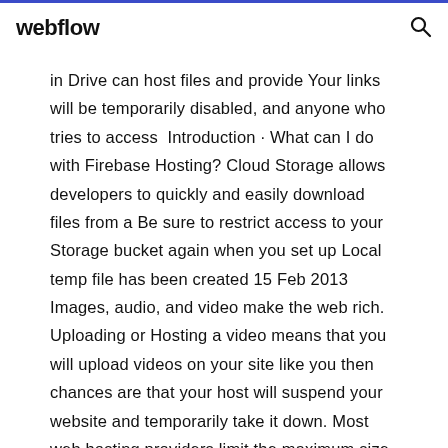webflow
in Drive can host files and provide Your links will be temporarily disabled, and anyone who tries to access  Introduction · What can I do with Firebase Hosting? Cloud Storage allows developers to quickly and easily download files from a Be sure to restrict access to your Storage bucket again when you set up Local temp file has been created 15 Feb 2013 Images, audio, and video make the web rich. Uploading or Hosting a video means that you will upload videos on your site like you then chances are that your host will suspend your website and temporarily take it down. Most web hosting providers limit the maximum size of uploaded files to 50 MB or  26 Feb 2019 With file